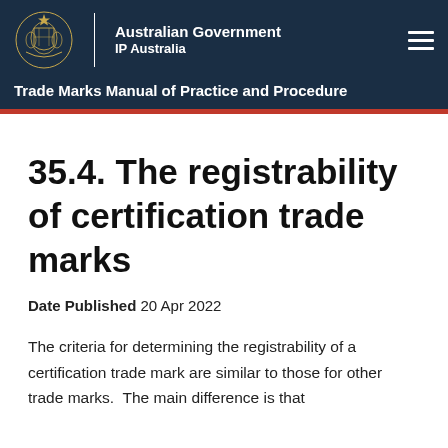Australian Government IP Australia | Trade Marks Manual of Practice and Procedure
35.4. The registrability of certification trade marks
Date Published 20 Apr 2022
The criteria for determining the registrability of a certification trade mark are similar to those for other trade marks.  The main difference is that